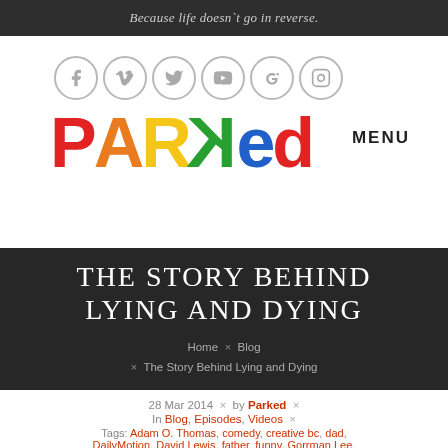Because life doesn`t go in reverse.
[Figure (logo): PARKed website logo with colorful clay-style lettering (P=red, A=orange, R=yellow, K=green, e=blue, d=red) and social media icons (Facebook, Vimeo, Twitter, YouTube, Google+, Instagram) in grey circles. MENU text appears to the right.]
THE STORY BEHIND LYING AND DYING
Home × Blog × The Story Behind Lying and Dying
28 Mar 2014 × by Parked × In Blog, Episodes, Videos × Tags: Adam O. Thomas, comedy, creative bc, dad, DailyMotion, David Lewis, father, funny, Gorrman Lee,